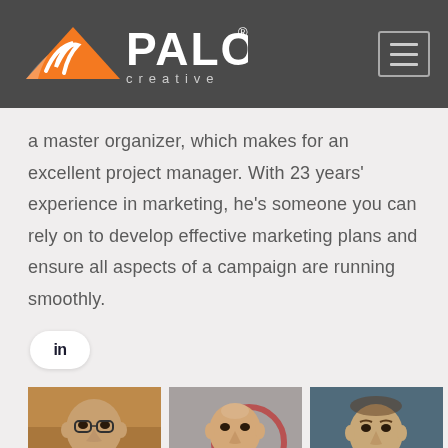[Figure (logo): Palo Creative logo with orange mountain/wave icon and white text on dark gray header background, with hamburger menu icon on right]
a master organizer, which makes for an excellent project manager. With 23 years' experience in marketing, he's someone you can rely on to develop effective marketing plans and ensure all aspects of a campaign are running smoothly.
[Figure (logo): LinkedIn badge icon (rounded rectangle with 'in' text)]
[Figure (photo): Three headshot photos of men in a row at the bottom of the page]